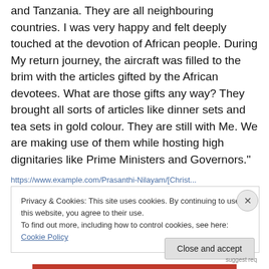and Tanzania. They are all neighbouring countries. I was very happy and felt deeply touched at the devotion of African people. During My return journey, the aircraft was filled to the brim with the articles gifted by the African devotees. What are those gifts any way? They brought all sorts of articles like dinner sets and tea sets in gold colour. They are still with Me. We are making use of them while hosting high dignitaries like Prime Ministers and Governors."
Privacy & Cookies: This site uses cookies. By continuing to use this website, you agree to their use.
To find out more, including how to control cookies, see here: Cookie Policy